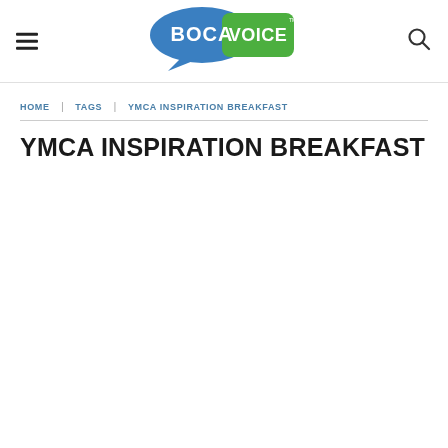Boca Voice — navigation header with menu icon, logo, and search icon
HOME | TAGS | YMCA INSPIRATION BREAKFAST
YMCA INSPIRATION BREAKFAST